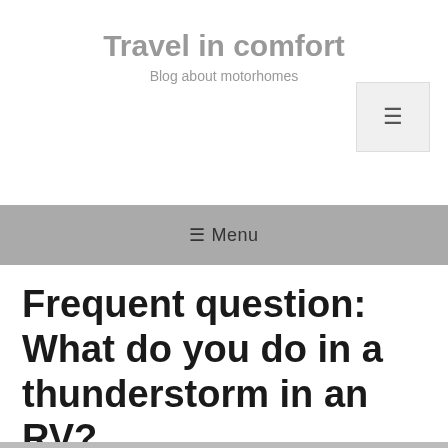Travel in comfort
Blog about motorhomes
[Figure (other): Hamburger menu button icon in top right corner]
☰ Menu
Frequent question: What do you do in a thunderstorm in an RV?